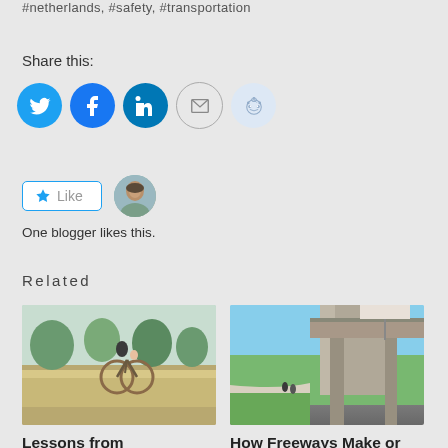#netherlands, #safety, #transportation
Share this:
[Figure (infographic): Social share icons: Twitter (blue circle), Facebook (blue circle), LinkedIn (dark blue circle), Email (envelope outline), Reddit (light blue circle)]
[Figure (infographic): Like button with star icon and blogger avatar photo]
One blogger likes this.
Related
[Figure (photo): Person riding a bicycle with a child seat in Amsterdam]
[Figure (photo): Freeway underpass with pedestrians and cyclists on a path with green lawn]
Lessons from Amsterdam: How
How Freeways Make or Break